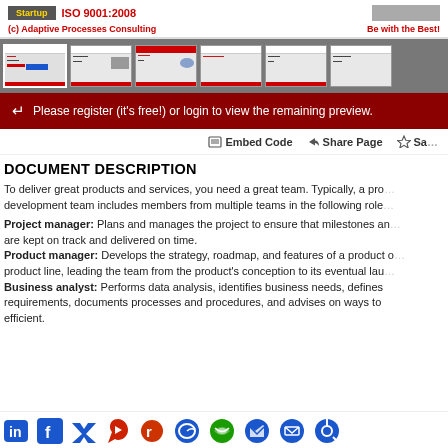[Figure (screenshot): Top banner with Startup button, ISO 9001:2008 text, and a gray image placeholder on the right. Below: '(c) Adaptive Processes Consulting' and 'Be with the Best!' in red bold text.]
[Figure (screenshot): Row of 6 slide thumbnails on a gray background, each showing small document previews with red accents.]
Please register (it's free!) or login to view the remaining preview.
Embed Code   Share Page   Sa...
DOCUMENT DESCRIPTION
To deliver great products and services, you need a great team. Typically, a product development team includes members from multiple teams in the following roles:
Project manager: Plans and manages the project to ensure that milestones and are kept on track and delivered on time.
Product manager: Develops the strategy, roadmap, and features of a product or product line, leading the team from the product's conception to its eventual launch.
Business analyst: Performs data analysis, identifies business needs, defines requirements, documents processes and procedures, and advises on ways to be efficient.
[Figure (infographic): Row of social media sharing icons: LinkedIn, Facebook, Twitter, Pinterest, Reddit, Messenger, WhatsApp, Telegram, Email, and another icon — all in blue.]